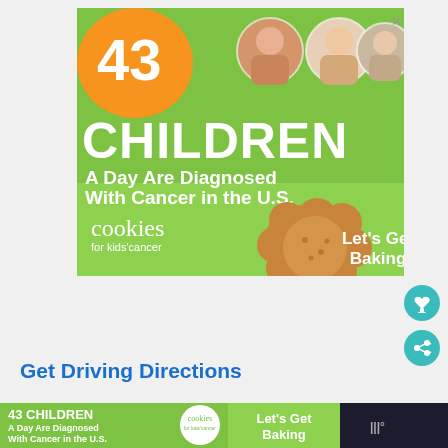[Figure (illustration): Advertisement banner for 'Cookies for Kids Cancer'. Green background with orange blob containing '43', three circular photos of children, large white text '43 CHILDREN A Day Are Diagnosed With Cancer in the U.S.', cookies logo and 'Let's Get Baking' text with cookie image.]
Get Driving Directions
[Figure (illustration): Sticky bottom banner: '43 CHILDREN A Day Are Diagnosed With Cancer in the U.S.' with Cookies for Kids Cancer logo and 'Let's Get Baking' button, plus weather widget on right.]